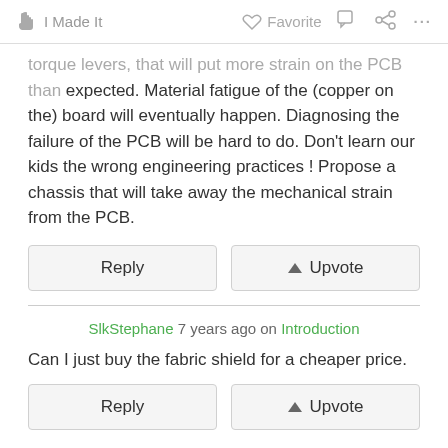I Made It   Favorite   ...
torque levers, that will put more strain on the PCB than expected. Material fatigue of the (copper on the) board will eventually happen. Diagnosing the failure of the PCB will be hard to do. Don't learn our kids the wrong engineering practices ! Propose a chassis that will take away the mechanical strain from the PCB.
Reply   Upvote
SlkStephane 7 years ago on Introduction
Can I just buy the fabric shield for a cheaper price.
Reply   Upvote